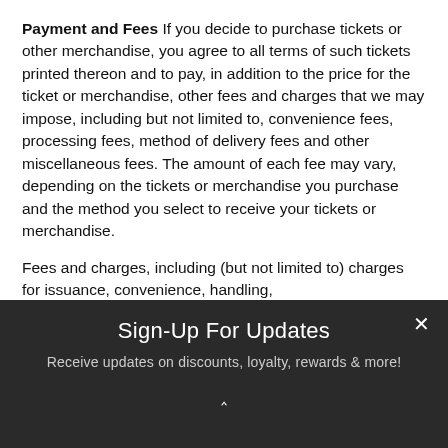Payment and Fees If you decide to purchase tickets or other merchandise, you agree to all terms of such tickets printed thereon and to pay, in addition to the price for the ticket or merchandise, other fees and charges that we may impose, including but not limited to, convenience fees, processing fees, method of delivery fees and other miscellaneous fees. The amount of each fee may vary, depending on the tickets or merchandise you purchase and the method you select to receive your tickets or merchandise.
Fees and charges, including (but not limited to) charges for issuance, convenience, handling,
Sign-Up For Updates
Receive updates on discounts, loyalty, rewards & more!